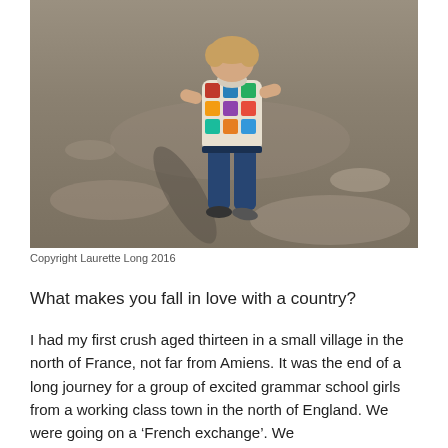[Figure (photo): A child seen from behind, wearing a colorful patterned shirt and jeans, standing on a sandy beach. The child's shadow falls to the left on the sand.]
Copyright Laurette Long 2016
What makes you fall in love with a country?
I had my first crush aged thirteen in a small village in the north of France, not far from Amiens. It was the end of a long journey for a group of excited grammar school girls from a working class town in the north of England. We were going on a ‘French exchange’. We